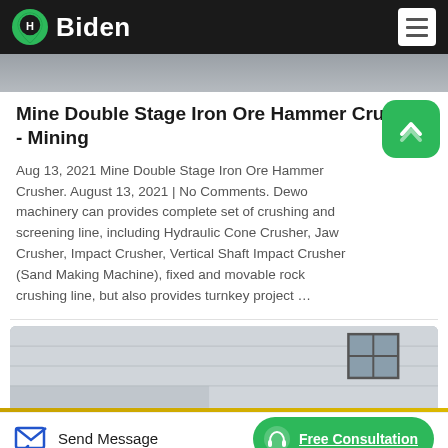Biden
[Figure (photo): Gray sky photograph at top of article card]
Mine Double Stage Iron Ore Hammer Crusher - Mining
Aug 13, 2021 Mine Double Stage Iron Ore Hammer Crusher. August 13, 2021 | No Comments. Dewo machinery can provides complete set of crushing and screening line, including Hydraulic Cone Crusher, Jaw Crusher, Impact Crusher, Vertical Shaft Impact Crusher (Sand Making Machine), fixed and movable rock crushing line, but also provides turnkey project …
[Figure (photo): Industrial building exterior photograph]
Send Message  Free Consultation